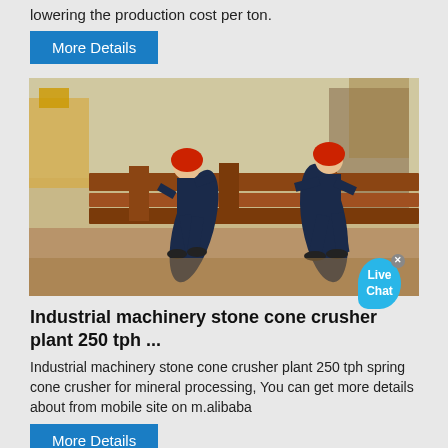lowering the production cost per ton.
More Details
[Figure (photo): Two workers in dark blue uniforms and red hard hats working at a construction site, handling large steel beams or plates.]
Industrial machinery stone cone crusher plant 250 tph ...
Industrial machinery stone cone crusher plant 250 tph spring cone crusher for mineral processing, You can get more details about from mobile site on m.alibaba
More Details
[Figure (photo): Close-up of industrial stone crusher machinery, showing mechanical parts including flywheel and frame.]